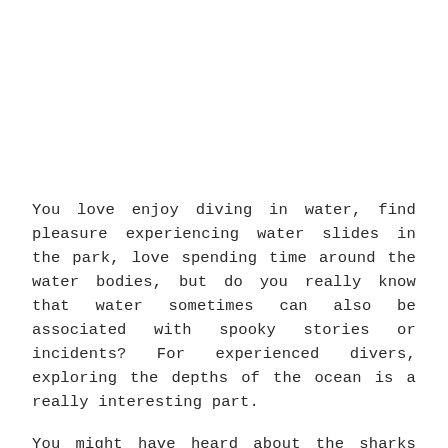You love enjoy diving in water, find pleasure experiencing water slides in the park, love spending time around the water bodies, but do you really know that water sometimes can also be associated with spooky stories or incidents? For experienced divers, exploring the depths of the ocean is a really interesting part.
You might have heard about the sharks and the freaking stories of the wild water animals attacking and more scary elements.